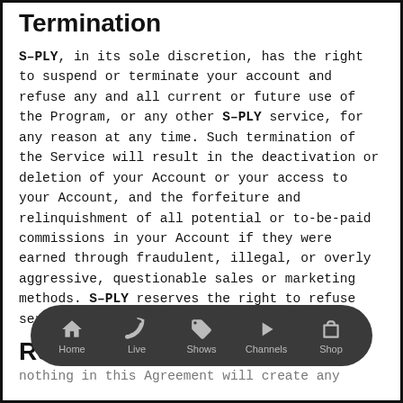Termination
S-PLY, in its sole discretion, has the right to suspend or terminate your account and refuse any and all current or future use of the Program, or any other S-PLY service, for any reason at any time. Such termination of the Service will result in the deactivation or deletion of your Account or your access to your Account, and the forfeiture and relinquishment of all potential or to-be-paid commissions in your Account if they were earned through fraudulent, illegal, or overly aggressive, questionable sales or marketing methods. S-PLY reserves the right to refuse service to anyone for any reason at any time.
Relationship of Parties
nothing in this Agreement will create any